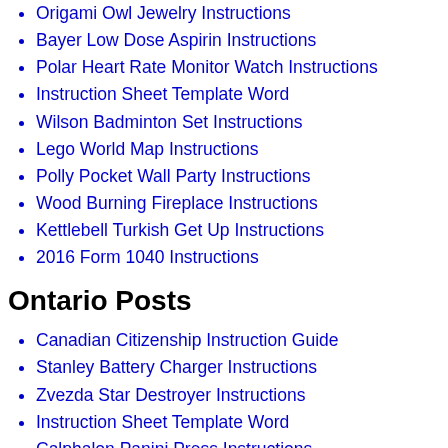Origami Owl Jewelry Instructions
Bayer Low Dose Aspirin Instructions
Polar Heart Rate Monitor Watch Instructions
Instruction Sheet Template Word
Wilson Badminton Set Instructions
Lego World Map Instructions
Polly Pocket Wall Party Instructions
Wood Burning Fireplace Instructions
Kettlebell Turkish Get Up Instructions
2016 Form 1040 Instructions
Ontario Posts
Canadian Citizenship Instruction Guide
Stanley Battery Charger Instructions
Zvezda Star Destroyer Instructions
Instruction Sheet Template Word
Calphalon Panini Press Instructions